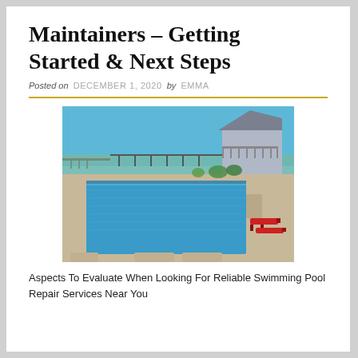Maintainers – Getting Started & Next Steps
Posted on DECEMBER 1, 2020 by EMMA
[Figure (photo): Outdoor rectangular swimming pool with clear blue water, red lounge chairs on the right, and a house with balcony in the background under a clear blue sky.]
Aspects To Evaluate When Looking For Reliable Swimming Pool Repair Services Near You